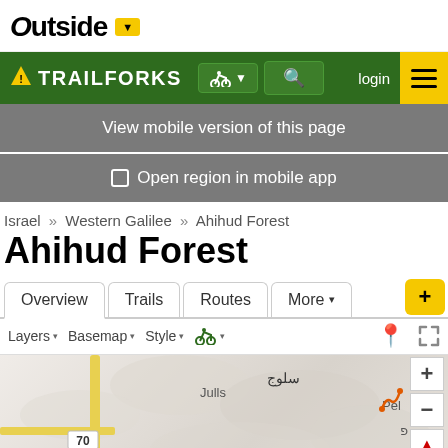Outside (logo with dropdown arrow)
TRAILFORKS navigation bar with bike icon, search, login, menu
View mobile version of this page
Open region in mobile app
Israel » Western Galilee » Ahihud Forest
Ahihud Forest
Overview | Trails | Routes | More ▾ | +
Layers ▾  Basemap ▾  Style ▾  [bike icon] ▾
[Figure (map): Interactive map showing Ahihud Forest region near Julis / Julls area in Western Galilee, Israel, with Arabic place name سلوج, road 70 badge, yellow road, green trail, and map controls (+, -, compass). Labels: Julis, سلوج, Tal Fl, Pel. Trail icon visible.]